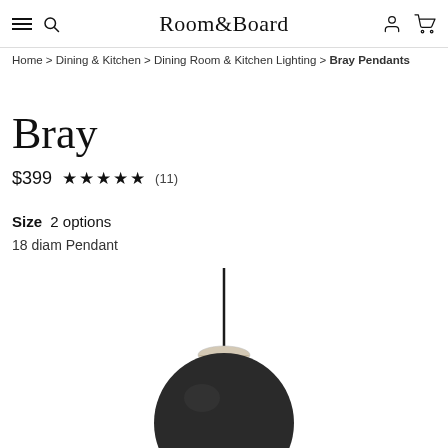Room&Board
Home > Dining & Kitchen > Dining Room & Kitchen Lighting > Bray Pendants
Bray
$399  ★★★★★ (11)
Size  2 options
18 diam Pendant
[Figure (photo): Bray pendant light with dark spherical shade and thin black cord with a small light natural wood canopy cap at the top, partially visible at bottom of page.]